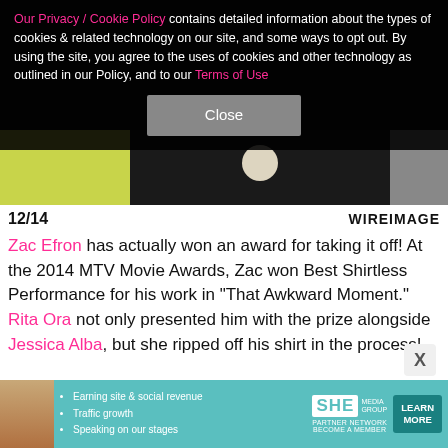[Figure (photo): Dark background with partial image of person in yellow-green outfit holding a dark cup, with gray fabric visible on right edge]
Our Privacy / Cookie Policy contains detailed information about the types of cookies & related technology on our site, and some ways to opt out. By using the site, you agree to the uses of cookies and other technology as outlined in our Policy, and to our Terms of Use
Close
12/14	WIREIMAGE
Zac Efron has actually won an award for taking it off! At the 2014 MTV Movie Awards, Zac won Best Shirtless Performance for his work in "That Awkward Moment." Rita Ora not only presented him with the prize alongside Jessica Alba, but she ripped off his shirt in the process!
[Figure (infographic): SHE Partner Network advertisement banner with woman photo, bullet points about earning site & social revenue, traffic growth, speaking on stages, and a LEARN MORE button]